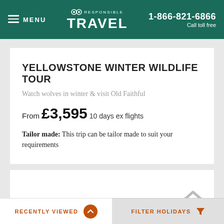MENU | RESPONSIBLE TRAVEL | 1-866-821-6866 Call toll free
YELLOWSTONE WINTER WILDLIFE TOUR
Watch wolves in winter & visit Old Faithful
From £3,595 10 days ex flights
Tailor made: This trip can be tailor made to suit your requirements
RECENTLY VIEWED | FILTER HOLIDAYS